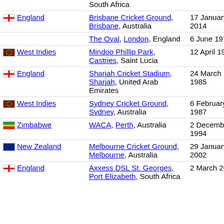| Opponent | Venue | Date |
| --- | --- | --- |
| South Africa (partial top) |  |  |
| England | Brisbane Cricket Ground, Brisbane, Australia | 17 January 2014 |
| England | The Oval, London, England | 6 June 1977 |
| West Indies | Mindoo Phillip Park, Castries, Saint Lucia | 12 April 1978 |
| England | Sharjah Cricket Stadium, Sharjah, United Arab Emirates | 24 March 1985 |
| West Indies | Sydney Cricket Ground, Sydney, Australia | 6 February 1987 |
| Zimbabwe | WACA, Perth, Australia | 2 December 1994 |
| New Zealand | Melbourne Cricket Ground, Melbourne, Australia | 29 January 2002 |
| England | Axxess DSL St. Georges, Port Elizabeth, South Africa | 2 March 2003 |